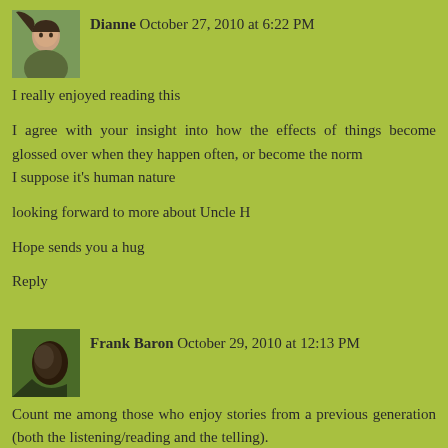[Figure (photo): Avatar photo of Dianne, a woman with dark hair]
Dianne October 27, 2010 at 6:22 PM
I really enjoyed reading this
I agree with your insight into how the effects of things become glossed over when they happen often, or become the norm
I suppose it's human nature
looking forward to more about Uncle H
Hope sends you a hug
Reply
[Figure (photo): Avatar photo of Frank Baron, dark silhouette image]
Frank Baron October 29, 2010 at 12:13 PM
Count me among those who enjoy stories from a previous generation (both the listening/reading and the telling).
I well remember the Saturday night baths in our house. Six of us kids would be in the tub at the same time -- getting spiffed up for church the next morning.